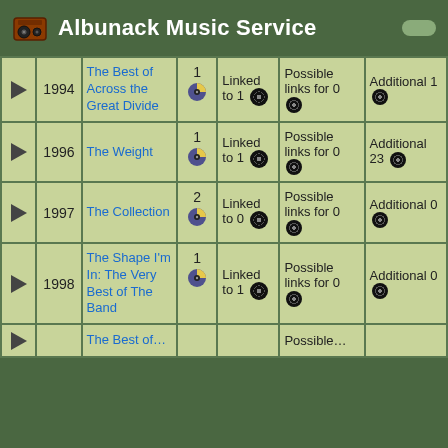Albunack Music Service
|  | Year | Title | # | Linked | Possible links for | Additional |
| --- | --- | --- | --- | --- | --- | --- |
| ▶ | 1994 | The Best of Across the Great Divide | 1 | Linked to 1 | Possible links for 0 | Additional 1 |
| ▶ | 1996 | The Weight | 1 | Linked to 1 | Possible links for 0 | Additional 23 |
| ▶ | 1997 | The Collection | 2 | Linked to 0 | Possible links for 0 | Additional 0 |
| ▶ | 1998 | The Shape I'm In: The Very Best of The Band | 1 | Linked to 1 | Possible links for 0 | Additional 0 |